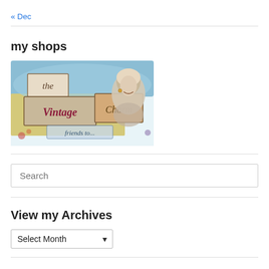« Dec
[Figure (illustration): The Vintage Charm shop logo banner featuring retro text signs reading 'the Vintage Charm friends...' with a vintage-style woman illustration and colorful collage background in blue and yellow tones.]
my shops
Search (search input field)
View my Archives
Select Month (dropdown)